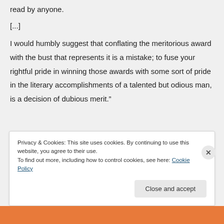read by anyone.
[...]
I would humbly suggest that conflating the meritorious award with the bust that represents it is a mistake; to fuse your rightful pride in winning those awards with some sort of pride in the literary accomplishments of a talented but odious man, is a decision of dubious merit.”
Privacy & Cookies: This site uses cookies. By continuing to use this website, you agree to their use.
To find out more, including how to control cookies, see here: Cookie Policy